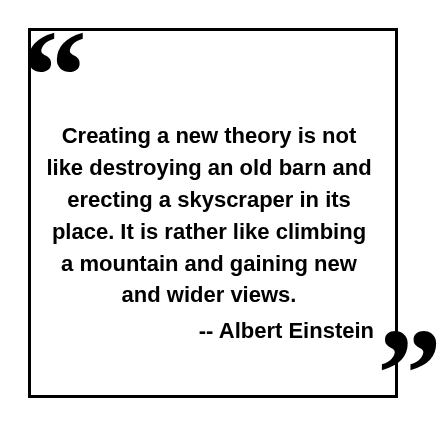[Figure (illustration): Decorative large opening double quotation marks in black at top-left, overlapping a rectangular black border box. Large closing double quotation marks at bottom-right overlapping the border box.]
Creating a new theory is not like destroying an old barn and erecting a skyscraper in its place. It is rather like climbing a mountain and gaining new and wider views.
-- Albert Einstein